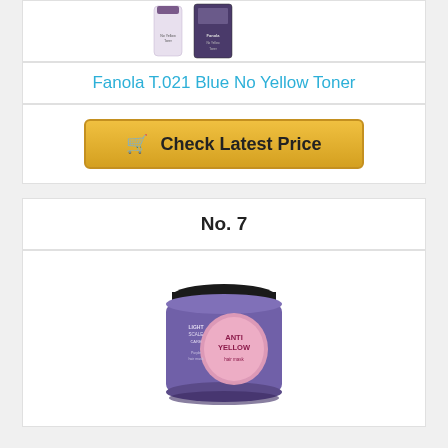[Figure (photo): Product photo of Fanola T.021 Blue No Yellow Toner tubes/boxes at top of page]
Fanola T.021 Blue No Yellow Toner
[Figure (other): Check Latest Price button with shopping cart icon]
No. 7
[Figure (photo): Purple jar of anti-yellow hair mask product - light scale care]